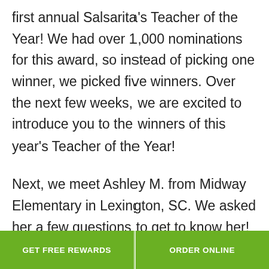first annual Salsarita's Teacher of the Year! We had over 1,000 nominations for this award, so instead of picking one winner, we picked five winners. Over the next few weeks, we are excited to introduce you to the winners of this year's Teacher of the Year!
Next, we meet Ashley M. from Midway Elementary in Lexington, SC. We asked her a few questions to get to know her!
GET FREE REWARDS    ORDER ONLINE